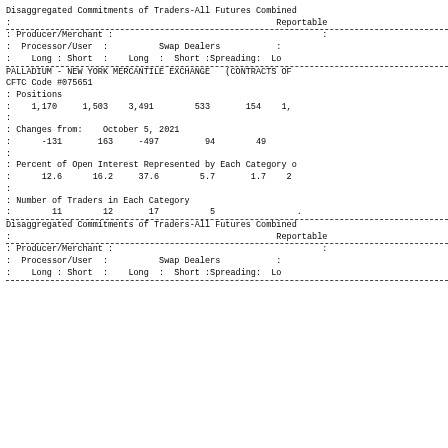Disaggregated Commitments of Traders-All Futures Combined
:                                                    Reportable
| Producer/Merchant |  |  | Swap Dealers |  |  |
| --- | --- | --- | --- | --- | --- |
| Processor/User | : | Swap Dealers | : |
| Long : Short : | Long : Short :Spreading: | Lo |
PALLADIUM - NEW YORK MERCANTILE EXCHANGE  (CONTRACTS OF
CFTC Code #075651
: Positions
:    1,170     1,503    3,491        533       154    1,
:
: Changes from:    October 5, 2021
:      -131       163     -497         94        49
:
: Percent of Open Interest Represented by Each Category o
:      12.6      16.2     37.6        5.7       1.7    2
:
: Number of Traders in Each Category
:        11        12       17          5                .
Disaggregated Commitments of Traders-All Futures Combined
:                                                    Reportable
| Producer/Merchant |  |  | Swap Dealers |  |  |
| --- | --- | --- | --- | --- | --- |
| Processor/User | : | Swap Dealers | : |
| Long : Short : | Long : Short :Spreading: | Lo |